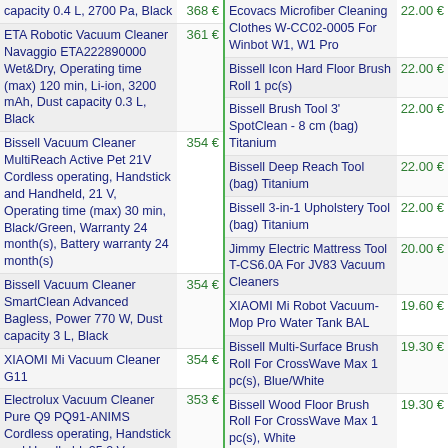| Product | Price |
| --- | --- |
| capacity 0.4 L, 2700 Pa, Black | 368 € |
| ETA Robotic Vacuum Cleaner Navaggio ETA222890000 Wet&Dry, Operating time (max) 120 min, Li-ion, 3200 mAh, Dust capacity 0.3 L, Black | 361 € |
| Bissell Vacuum Cleaner MultiReach Active Pet 21V Cordless operating, Handstick and Handheld, 21 V, Operating time (max) 30 min, Black/Green, Warranty 24 month(s), Battery warranty 24 month(s) | 354 € |
| Bissell Vacuum Cleaner SmartClean Advanced Bagless, Power 770 W, Dust capacity 3 L, Black | 354 € |
| XIAOMI Mi Vacuum Cleaner G11 | 354 € |
| Electrolux Vacuum Cleaner Pure Q9 PQ91-ANIMS Cordless operating, Handstick and Handheld, 25.2 V, Operating time (max) 55 min, Grey, Warranty 24 month(s) | 353 € |
| Electrolux Vacuum Cleaner PQ92-ALG Pure Q9 Cordless operating, Handstick and Handheld, 25.2 V, Operating… |  |
| Product | Price |
| --- | --- |
| Ecovacs Microfiber Cleaning Clothes W-CC02-0005 For Winbot W1, W1 Pro | 22.00 € |
| Bissell Icon Hard Floor Brush Roll 1 pc(s) | 22.00 € |
| Bissell Brush Tool 3' SpotClean - 8 cm (bag) Titanium | 22.00 € |
| Bissell Deep Reach Tool (bag) Titanium | 22.00 € |
| Bissell 3-in-1 Upholstery Tool (bag) Titanium | 22.00 € |
| Jimmy Electric Mattress Tool T-CS6.0A For JV83 Vacuum Cleaners | 20.00 € |
| XIAOMI Mi Robot Vacuum-Mop Pro Water Tank BAL | 19.60 € |
| Bissell Multi-Surface Brush Roll For CrossWave Max 1 pc(s), Blue/White | 19.30 € |
| Bissell Wood Floor Brush Roll For CrossWave Max 1 pc(s), White | 19.30 € |
| Mamibot Roller with fur brush B-ROLLER For Mamibot V7, Grey/Red | 19.00 € |